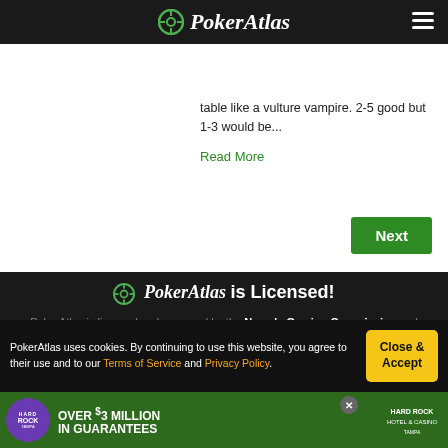PokerAtlas
table like a vulture vampire. 2-5 good but 1-3 would be...
Read More
Next
PokerAtlas is Licensed!
PokerAtlas is licensed and approved by the Nevada Gaming Commission and New Jersey Division of Gaming Enforcement.
Follow PokerAtlas
Follow Us On Twitter
Follow Us On Pinterest
18+
PokerAtlas uses cookies. By continuing to use this website, you agree to their use and to our Terms of Service and Privacy Policy.
Close & Accept
[Figure (advertisement): Hard Rock Tampa casino ad: Over $3 Million in Guarantees]